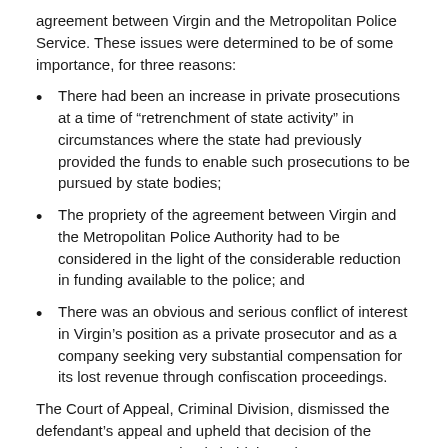agreement between Virgin and the Metropolitan Police Service. These issues were determined to be of some importance, for three reasons:
There had been an increase in private prosecutions at a time of “retrenchment of state activity” in circumstances where the state had previously provided the funds to enable such prosecutions to be pursued by state bodies;
The propriety of the agreement between Virgin and the Metropolitan Police Authority had to be considered in the light of the considerable reduction in funding available to the police; and
There was an obvious and serious conflict of interest in Virgin’s position as a private prosecutor and as a company seeking very substantial compensation for its lost revenue through confiscation proceedings.
The Court of Appeal, Criminal Division, dismissed the defendant’s appeal and upheld that decision of the Crown Court: It was clearly held that private prosecutors may commence confiscation